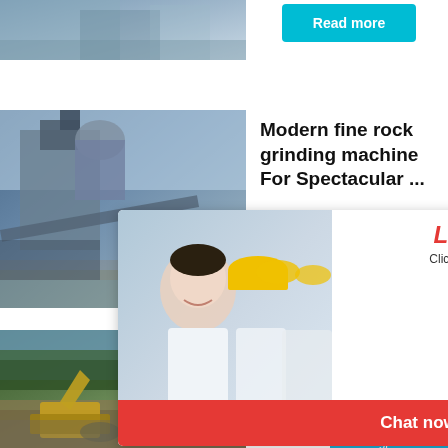[Figure (photo): Top-left industrial machinery/equipment photo, partially visible]
[Figure (screenshot): Read more button in cyan/teal color]
[Figure (photo): Industrial grinding/milling plant facility photo on left side]
Modern fine rock grinding machine For Spectacular ...
[Figure (screenshot): Live chat popup overlay with workers in hard hats, LIVE CHAT title in red italic, Click for a Free Consultation text, Chat now (red) and Chat later (dark) buttons]
[Figure (screenshot): Right sidebar panel in blue with hour online text, cone crusher machine image, Click me to chat>> button, Enquiry section, limingjlmofen username]
[Figure (photo): Construction/quarry site with heavy machinery and excavators, trees in background]
Hammer Mill Industrial Crusher
A hamme...